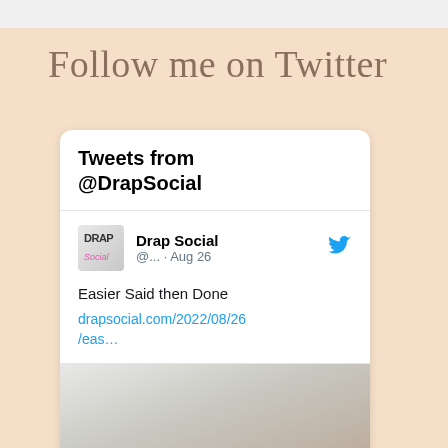Follow me on Twitter
[Figure (screenshot): Twitter widget card showing tweets from @DrapSocial. Contains tweet from 'Drap Social' (@... · Aug 26) with text 'Easier Said then Done drapsocial.com/2022/08/26/eas...' and a preview image showing script text 'It's Easier Said' and bold text 'THEN DONE!']